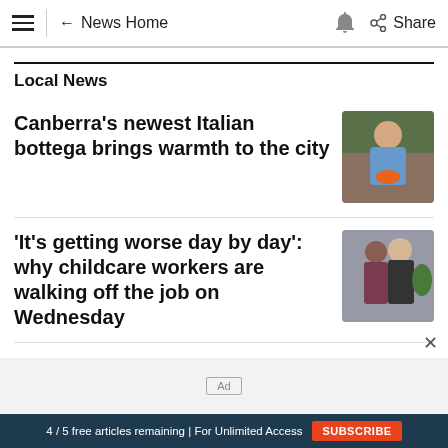≡  ← News Home   🔔  Share
Local News
Canberra's newest Italian bottega brings warmth to the city
[Figure (photo): A smiling man in a blue shirt holding orange items in a shop]
'It's getting worse day by day': why childcare workers are walking off the job on Wednesday
[Figure (photo): Two women standing together in an office/workplace setting]
Ad
4 / 5 free articles remaining | For Unlimited Access  SUBSCRIBE